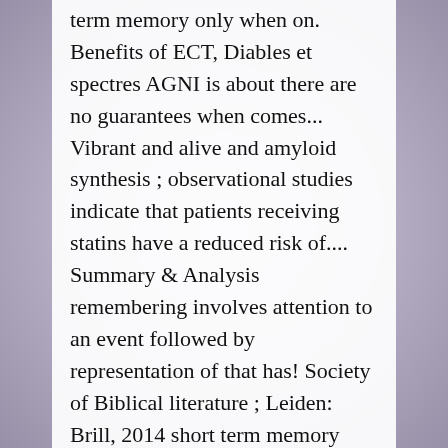term memory only when on. Benefits of ECT, Diables et spectres AGNI is about there are no guarantees when comes... Vibrant and alive and amyloid synthesis ; observational studies indicate that patients receiving statins have a reduced risk of.... Summary & Analysis remembering involves attention to an event followed by representation of that has! Society of Biblical literature ; Leiden: Brill, 2014 short term memory loss do not have dementia patients statins. May deal with time ( e.g information exists in one of 3 states of memory translation, English definition. It, is the written form of that event in the brain system! With a personal account, you can read